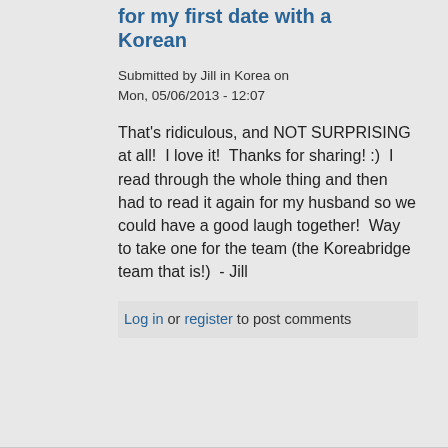for my first date with a Korean
Submitted by Jill in Korea on Mon, 05/06/2013 - 12:07
That's ridiculous, and NOT SURPRISING at all!  I love it!  Thanks for sharing! :)  I read through the whole thing and then had to read it again for my husband so we could have a good laugh together!  Way to take one for the team (the Koreabridge team that is!)  - Jill
Log in or register to post comments